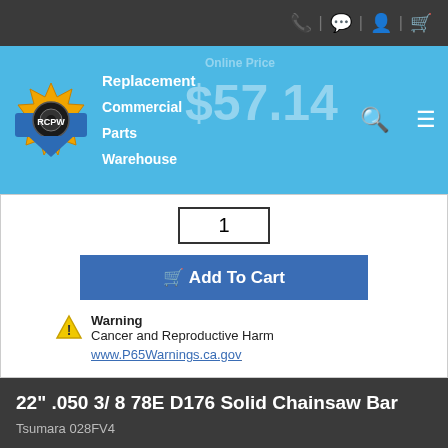Replacement Commercial Parts Warehouse — RCPW
Online Price $57.14
1
Add To Cart
Warning
Cancer and Reproductive Harm
www.P65Warnings.ca.gov
22" .050 3/ 8 78E D176 Solid Chainsaw Bar
Tsumara 028FV4
|  |  |
| --- | --- |
| dl | 78 |